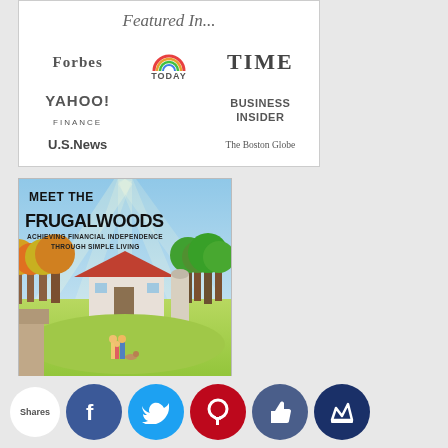[Figure (infographic): Featured In panel showing logos: Forbes, TODAY, TIME, Yahoo! Finance, Business Insider, U.S.News, The Boston Globe]
[Figure (illustration): Book cover: Meet the Frugalwoods – Achieving Financial Independence Through Simple Living, showing a pastoral Vermont farm scene]
[Figure (infographic): Social sharing bar with share count bubble and buttons: Facebook (blue), Twitter (light blue), Pinterest (red), Like/thumbs-up (blue-grey), Crown/Tippy (dark blue)]